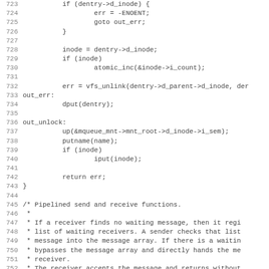Source code listing, lines 723-755, showing C kernel code for mqueue filesystem operations including vfs_unlink, dput, putname, iput calls and a comment block about pipelined send and receive functions.